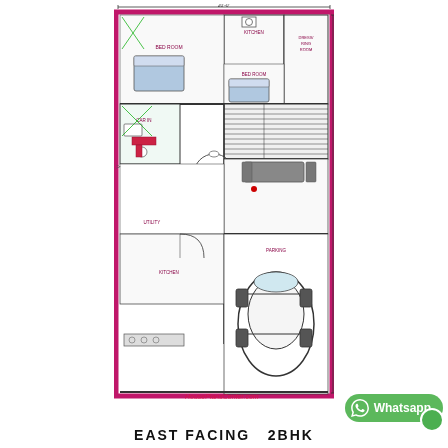[Figure (engineering-diagram): East Facing 2BHK house floor plan with rooms labeled: Bed Room, Dress/Ring Room, Kitchen, Car IN, Living/Dining area with dining table, staircase, Utility, Parking with car, and dimension annotations 20'-0" width and 50'-0" height]
EAST FACING  2BHK